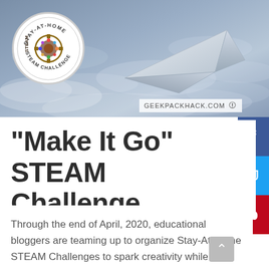[Figure (photo): Hero banner image with cloudy sky background and a paper airplane flying, with Stay-At-Home STEAM Challenge circular logo on the left and GeekPackHack.com watermark at the bottom right.]
“Make It Go” STEAM Challenge
Through the end of April, 2020, educational bloggers are teaming up to organize Stay-At-Home STEAM Challenges to spark creativity while families are home, limiting the spread of COVID-19. This “Make it Go” contest challenges you to create something that moves. What will you build? A...